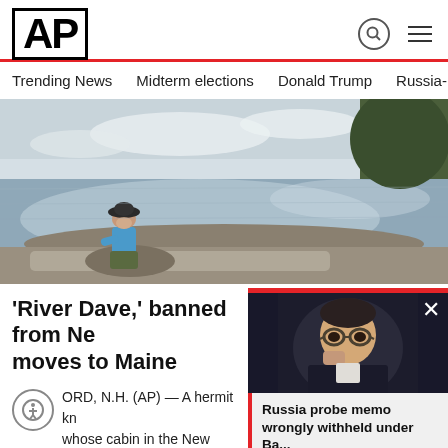AP
Trending News   Midterm elections   Donald Trump   Russia-Ukr
[Figure (photo): Man sitting on a rock by a calm river or lake, wearing a blue shirt and dark hat, with trees reflecting in the water]
'River Dave,' banned from Ne... moves to Maine
ORD, N.H. (AP) — A hermit kn... whose cabin in the New Hampshire wo...
AP   3 days ago
[Figure (photo): Man with glasses in a dark setting — overlay card thumbnail]
Russia probe memo wrongly withheld under Ba...
Ad Content